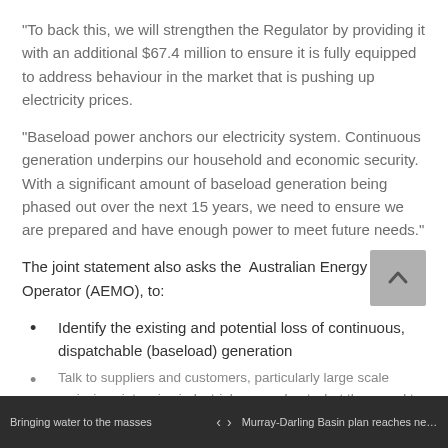“To back this, we will strengthen the Regulator by providing it with an additional $67.4 million to ensure it is fully equipped to address behaviour in the market that is pushing up electricity prices.
“Baseload power anchors our electricity system. Continuous generation underpins our household and economic security. With a significant amount of baseload generation being phased out over the next 15 years, we need to ensure we are prepared and have enough power to meet future needs.”
The joint statement also asks the  Australian Energy Market Operator (AEMO), to:
Identify the existing and potential loss of continuous, dispatchable (baseload) generation
Talk to suppliers and customers, particularly large scale emissions intensive industrial users, about what they need to secure future
Bringing water to the masses   ‹  ›   Murray-Darling Basin plan reaches new m...